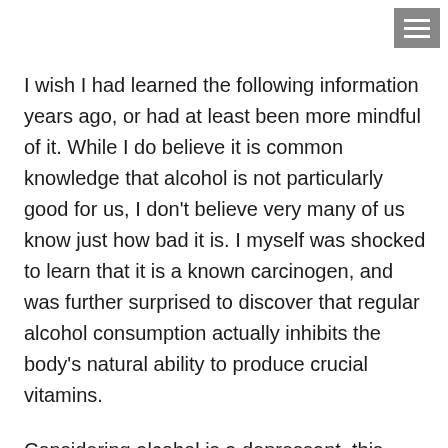I wish I had learned the following information years ago, or had at least been more mindful of it. While I do believe it is common knowledge that alcohol is not particularly good for us, I don't believe very many of us know just how bad it is. I myself was shocked to learn that it is a known carcinogen, and was further surprised to discover that regular alcohol consumption actually inhibits the body's natural ability to produce crucial vitamins.
Considering alcohol is a depressant, this information makes clear how negatively it can impact both mental and physical health, often leading to a vicious cycle of self medication. And since alcohol is legal it is easily available which makes the warning signs of alcoholism more difficult to spot. If you are concerned that you are drinking too much, have a